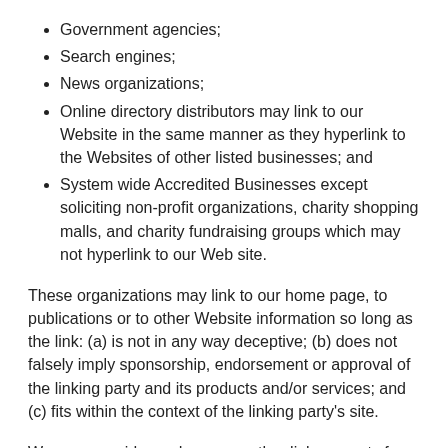Government agencies;
Search engines;
News organizations;
Online directory distributors may link to our Website in the same manner as they hyperlink to the Websites of other listed businesses; and
System wide Accredited Businesses except soliciting non-profit organizations, charity shopping malls, and charity fundraising groups which may not hyperlink to our Web site.
These organizations may link to our home page, to publications or to other Website information so long as the link: (a) is not in any way deceptive; (b) does not falsely imply sponsorship, endorsement or approval of the linking party and its products and/or services; and (c) fits within the context of the linking party's site.
We may consider and approve other link requests from the